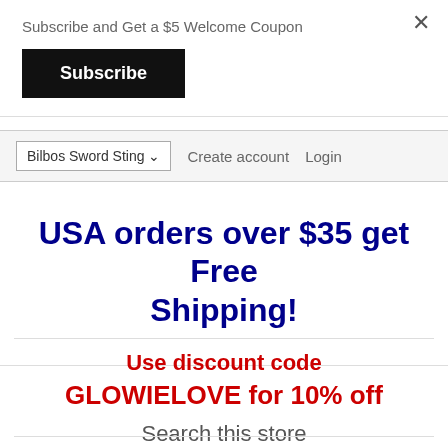Subscribe and Get a $5 Welcome Coupon
Subscribe
Bilbos Sword Sting ▾   Create account   Login
USA orders over $35 get Free Shipping!
Use discount code
GLOWIELOVE for 10% off
Search this store